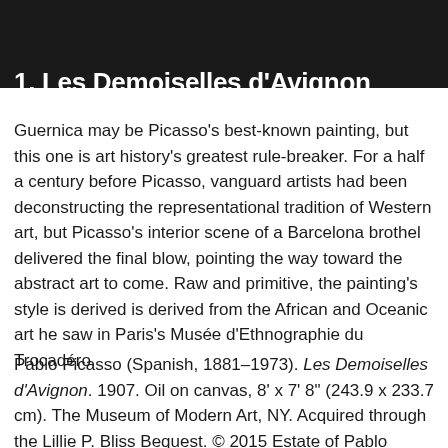1. Les Demoiselles d'Avignon (1907)
Guernica may be Picasso's best-known painting, but this one is art history's greatest rule-breaker. For a half a century before Picasso, vanguard artists had been deconstructing the representational tradition of Western art, but Picasso's interior scene of a Barcelona brothel delivered the final blow, pointing the way toward the abstract art to come. Raw and primitive, the painting's style is derived is derived from the African and Oceanic art he saw in Paris's Musée d'Ethnographie du Trocadéro.
Pablo Picasso (Spanish, 1881–1973). Les Demoiselles d'Avignon. 1907. Oil on canvas, 8' x 7' 8" (243.9 x 233.7 cm). The Museum of Modern Art, NY. Acquired through the Lillie P. Bliss Bequest. © 2015 Estate of Pablo Picasso/Artists Rights Society (ARS), New York